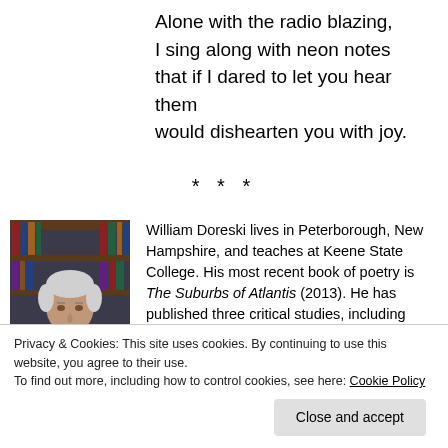Alone with the radio blazing,
I sing along with neon notes
that if I dared to let you hear them
would dishearten you with joy.
***
[Figure (photo): Portrait photo of William Doreski, an older man with white/grey hair, wearing a grey turtleneck, with bookshelves in the background.]
William Doreski lives in Peterborough, New Hampshire, and teaches at Keene State College. His most recent book of poetry is The Suburbs of Atlantis (2013). He has published three critical studies, including Robert Lowell's Shifting Colors.
Privacy & Cookies: This site uses cookies. By continuing to use this website, you agree to their use.
To find out more, including how to control cookies, see here: Cookie Policy